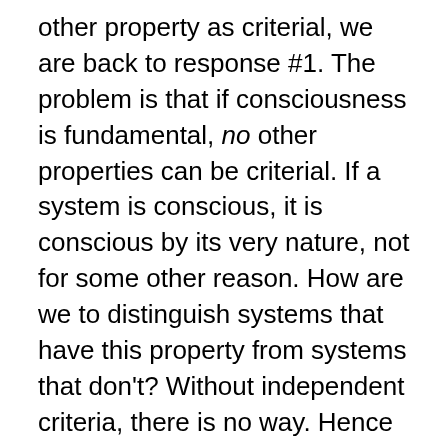other property as criterial, we are back to response #1. The problem is that if consciousness is fundamental, no other properties can be criterial. If a system is conscious, it is conscious by its very nature, not for some other reason. How are we to distinguish systems that have this property from systems that don't? Without independent criteria, there is no way. Hence the HPC cannot even be dodged from response #2: it is simply unsolvable.
Can the HPC be solved from response #3? Again no, because it cannot even be stated. Response #3 says that all entities –